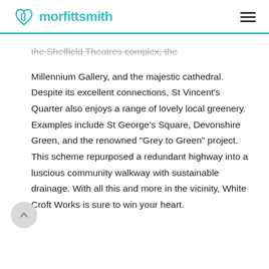morfittsmith
the Sheffield Theatres complex, the Millennium Gallery, and the majestic cathedral. Despite its excellent connections, St Vincent's Quarter also enjoys a range of lovely local greenery. Examples include St George's Square, Devonshire Green, and the renowned "Grey to Green" project. This scheme repurposed a redundant highway into a luscious community walkway with sustainable drainage. With all this and more in the vicinity, White Croft Works is sure to win your heart.